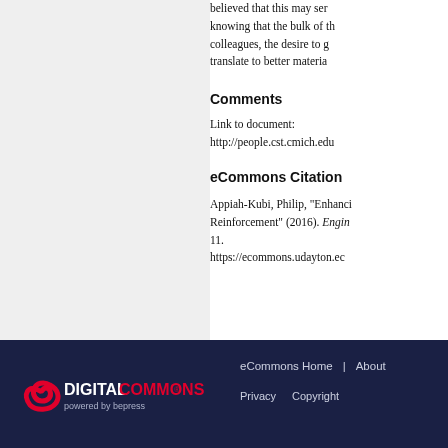believed that this may serve knowing that the bulk of the colleagues, the desire to g translate to better materia
Comments
Link to document:
http://people.cst.cmich.edu
eCommons Citation
Appiah-Kubi, Philip, "Enhanci Reinforcement" (2016). Engin 11.
https://ecommons.udayton.ec
[Figure (logo): Digital Commons powered by bepress logo on dark navy background]
eCommons Home | About
Privacy    Copyright